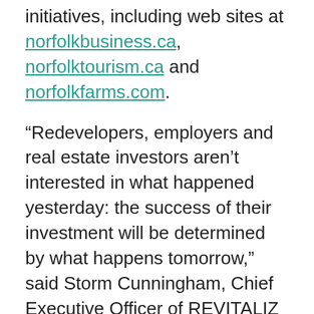initiatives, including web sites at norfolkbusiness.ca, norfolktourism.ca and norfolkfarms.com.
“Redevelopers, employers and real estate investors aren’t interested in what happened yesterday: the success of their investment will be determined by what happens tomorrow,” said Storm Cunningham, Chief Executive Officer of REVITALIZ LLC and keynote speaker at the Canadian Brownfields Conference.
Christopher Baird, General Manager of Planning & Economic Development Services attended the award presentation. “The recognition of Norfolk County as one of the